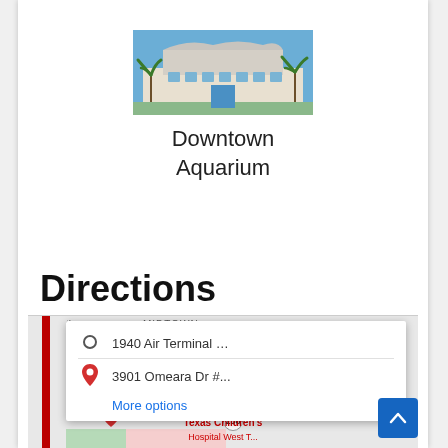[Figure (photo): Photo of Downtown Aquarium building exterior with palm trees and blue sky]
Downtown Aquarium
Directions
[Figure (map): Google Maps screenshot showing directions from 1940 Air Terminal ... to 3901 Omeara Dr #... with a popup panel showing addresses and a More options link. Map shows Midtown area, Texas Children's Hospital area, route 288.]